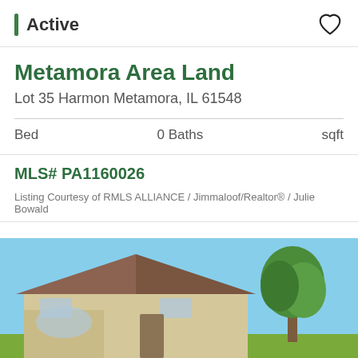Active
Metamora Area Land
Lot 35 Harmon Metamora, IL 61548
Bed   0 Baths   sqft
MLS# PA1160026
Listing Courtesy of RMLS ALLIANCE / Jimmaloof/Realtor® / Julie Bowald
[Figure (photo): Exterior photo of a house with beige/cream siding and dark brown roof, blue sky background, large green tree to the right]